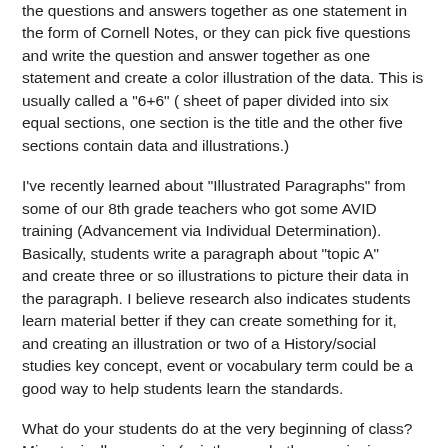the questions and answers together as one statement in the form of Cornell Notes, or they can pick five questions and write the question and answer together as one statement and create a color illustration of the data. This is usually called a "6+6" ( sheet of paper divided into six equal sections, one section is the title and the other five sections contain data and illustrations.)
I've recently learned about "Illustrated Paragraphs" from some of our 8th grade teachers who got some AVID training (Advancement via Individual Determination). Basically, students write a paragraph about "topic A" and create three or so illustrations to picture their data in the paragraph. I believe research also indicates students learn material better if they can create something for it, and creating an illustration or two of a History/social studies key concept, event or vocabulary term could be a good way to help students learn the standards.
What do your students do at the very beginning of class? Mine typically come in (quietly....yeah, they are junior highers ), sit down in their assigned seat, get out their daily planner